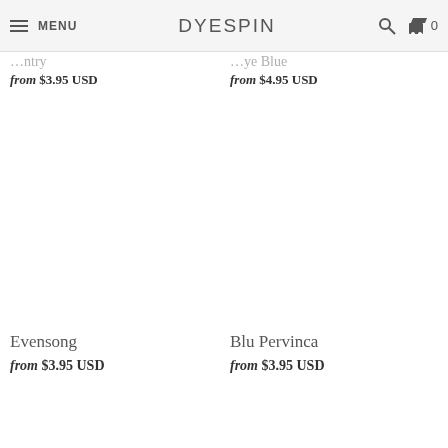MENU DYESPIN 🔍 🛒 0
from $3.95 USD
from $4.95 USD
Evensong
from $3.95 USD
Blu Pervinca
from $3.95 USD